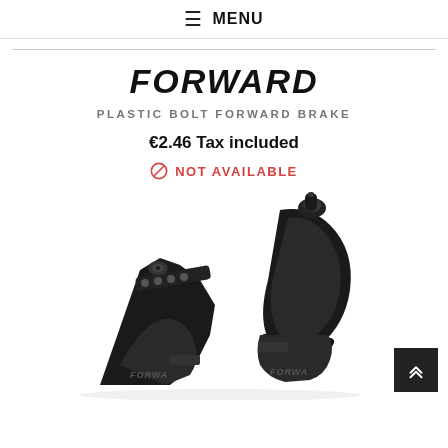≡ MENU
FORWARD
PLASTIC BOLT FORWARD BRAKE
€2.46 Tax included
NOT AVAILABLE
[Figure (photo): Black bicycle brake caliper product photo, showing Forward-branded brake arms and hardware components on white background]